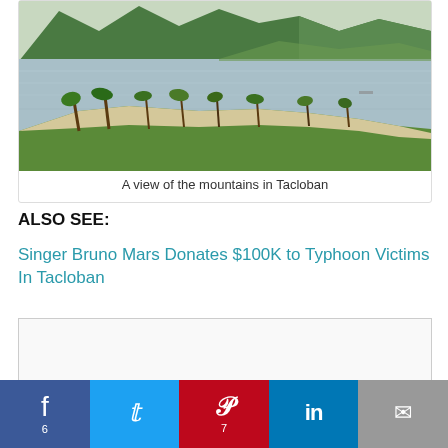[Figure (photo): A view of mountains, water, palm trees and a shoreline in Tacloban]
A view of the mountains in Tacloban
ALSO SEE:
Singer Bruno Mars Donates $100K to Typhoon Victims In Tacloban